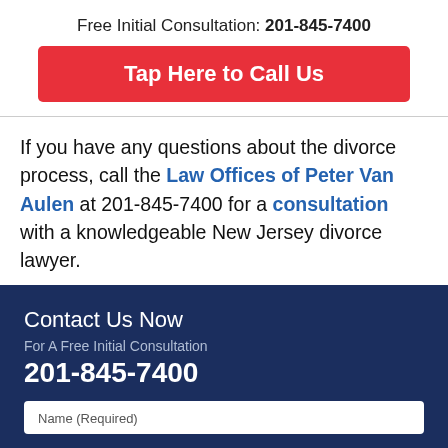Free Initial Consultation: 201-845-7400
[Figure (other): Red button: Tap Here to Call Us]
If you have any questions about the divorce process, call the Law Offices of Peter Van Aulen at 201-845-7400 for a consultation with a knowledgeable New Jersey divorce lawyer.
Contact Us Now
For A Free Initial Consultation
201-845-7400
Name (Required)